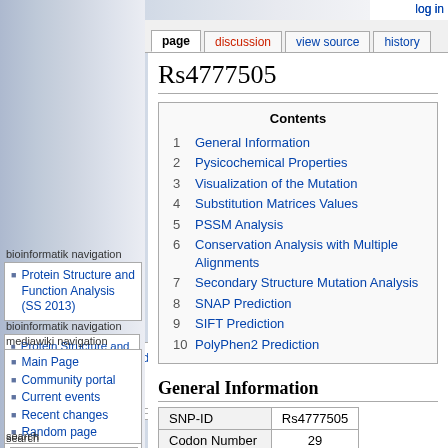log in
page | discussion | view source | history
Rs4777505
bioinformatik navigation
Protein Structure and Function Analysis (SS 2013)
mediawiki navigation
Main Page
Community portal
Current events
Recent changes
Random page
Help
sitesupport
search
Contents
1 General Information
2 Pysicochemical Properties
3 Visualization of the Mutation
4 Substitution Matrices Values
5 PSSM Analysis
6 Conservation Analysis with Multiple Alignments
7 Secondary Structure Mutation Analysis
8 SNAP Prediction
9 SIFT Prediction
10 PolyPhen2 Prediction
General Information
| SNP-ID | Rs4777505 |
| --- | --- |
| Codon Number | 29 |
| Mutation Codon | Asn → Ser |